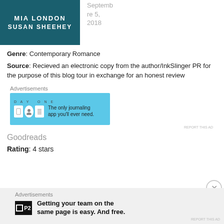[Figure (illustration): Book cover with teal/dark background showing authors MIA LONDON and SUSAN SHEEHEY in white bold letters]
Septembre 5, 2018
Genre: Contemporary Romance
Source: Recieved an electronic copy from the author/InkSlinger PR for the purpose of this blog tour in exchange for an honest review
Advertisements
[Figure (screenshot): Day One app advertisement banner: blue background with icons and text 'The only journaling app you'll ever need.']
Goodreads
Rating: 4 stars
Advertisements
[Figure (screenshot): P2 advertisement: 'Getting your team on the same page is easy. And free.']